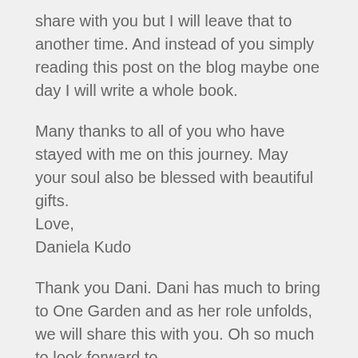share with you but I will leave that to another time. And instead of you simply reading this post on the blog maybe one day I will write a whole book.
Many thanks to all of you who have stayed with me on this journey. May your soul also be blessed with beautiful gifts.
Love,
Daniela Kudo
Thank you Dani. Dani has much to bring to One Garden and as her role unfolds, we will share this with you. Oh so much to look forward to.
Aloha
Christiana